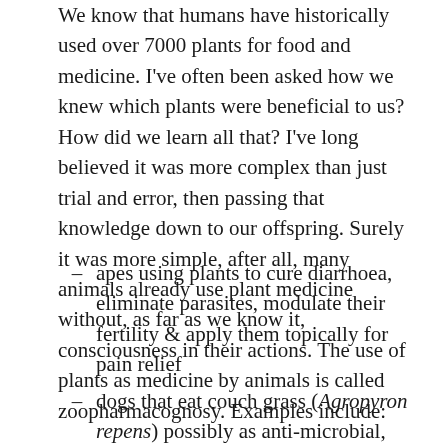We know that humans have historically used over 7000 plants for food and medicine. I've often been asked how we knew which plants were beneficial to us? How did we learn all that? I've long believed it was more complex than just trial and error, then passing that knowledge down to our offspring. Surely it was more simple, after all, many animals already use plant medicine without, as far as we know it, consciousness in their actions. The use of plants as medicine by animals is called zoopharmacognosy. Examples include:
apes using plants to cure diarrhoea, eliminate parasites, modulate their fertility & apply them topically for pain relief
dogs that eat couch grass (Agropyron repens) possibly as anti-microbial, anti-inflammatory